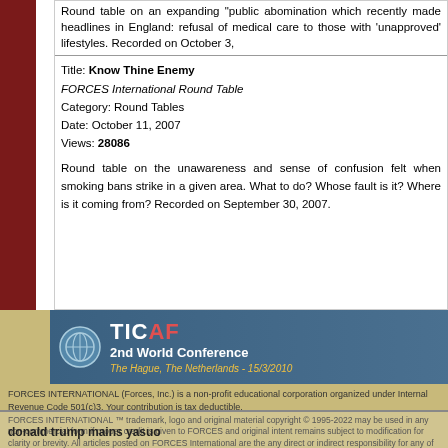Round table on an expanding "public abomination which recently made headlines in England: refusal of medical care to those with 'unapproved' lifestyles. Recorded on October 3,
Title: Know Thine Enemy
FORCES International Round Table
Category: Round Tables
Date: October 11, 2007
Views: 28086
Round table on the unawareness and sense of confusion felt when smoking bans strike in a given area. What to do? Whose fault is it? Where is it coming from? Recorded on September 30, 2007.
[Figure (other): TICAP 2nd World Conference banner - The Hague, The Netherlands - 15/3/2010]
FORCES INTERNATIONAL (Forces, Inc.) is a non-profit educational corporation organized under Internal Revenue Code 501(c)3. Your contribution is tax deductible.
FORCES INTERNATIONAL ™ trademark, logo and original material copyright © 1995-2022 may be used in any non-commercial form if proper credit is given to FORCES and original intent remains subject to modification for clarity or brevity. All articles posted on FORCES International are the any direct or indirect responsibility for any of the products or services advertised on its pages.
donald trump mains yasuo